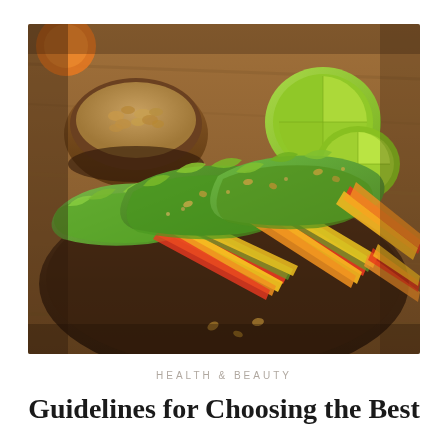[Figure (photo): Lettuce wraps filled with colorful sliced vegetables (red, yellow, orange bell peppers, carrots) arranged on a dark wooden plate, with a wooden bowl of peanuts and lime wedges in the background on a wooden table surface.]
HEALTH & BEAUTY
Guidelines for Choosing the Best